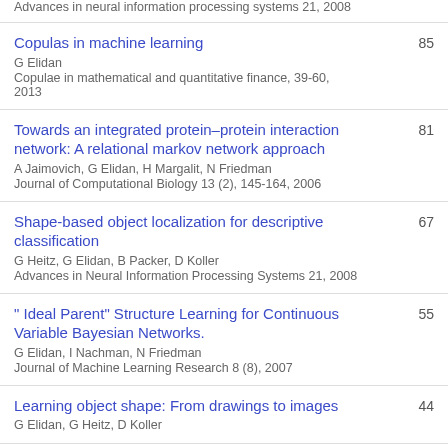Advances in neural information processing systems 21, 2008
Copulas in machine learning
G Elidan
Copulae in mathematical and quantitative finance, 39-60, 2013
85
Towards an integrated protein–protein interaction network: A relational markov network approach
A Jaimovich, G Elidan, H Margalit, N Friedman
Journal of Computational Biology 13 (2), 145-164, 2006
81
Shape-based object localization for descriptive classification
G Heitz, G Elidan, B Packer, D Koller
Advances in Neural Information Processing Systems 21, 2008
67
" Ideal Parent" Structure Learning for Continuous Variable Bayesian Networks.
G Elidan, I Nachman, N Friedman
Journal of Machine Learning Research 8 (8), 2007
55
Learning object shape: From drawings to images
44